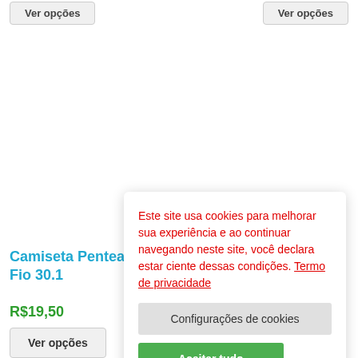Ver opções (top-left button)
Ver opções (top-right button)
Camiseta Pentea Fio 30.1
R$19,50
Ver opções
Este site usa cookies para melhorar sua experiência e ao continuar navegando neste site, você declara estar ciente dessas condições. Termo de privacidade
Configurações de cookies
Aceitar tudo